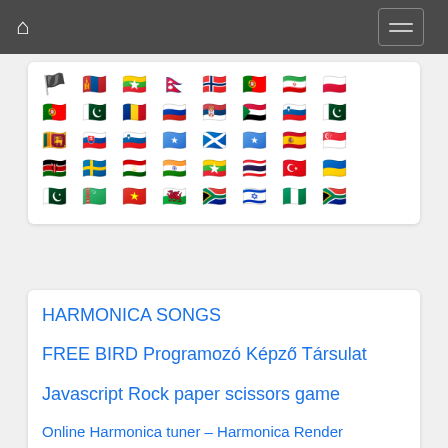Navigation bar with home icon and hamburger menu
[Figure (infographic): Grid of country flag emoji icons arranged in 5 rows, approximately 8 flags per row]
HARMONICA SONGS
FREE BIRD Programozó Képző Társulat
Javascript Rock paper scissors game
Online Harmonica tuner – Harmonica Render